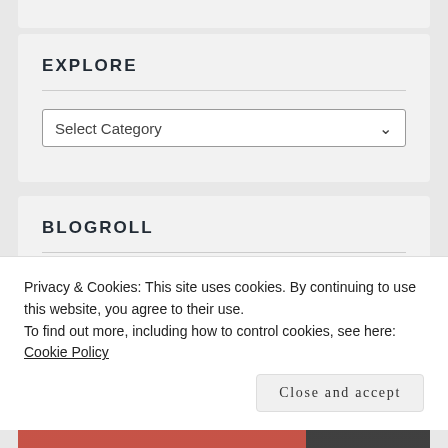EXPLORE
[Figure (screenshot): Select Category dropdown widget]
BLOGROLL
Quietus
Albums That Never Were
Privacy & Cookies: This site uses cookies. By continuing to use this website, you agree to their use.
To find out more, including how to control cookies, see here: Cookie Policy
Close and accept